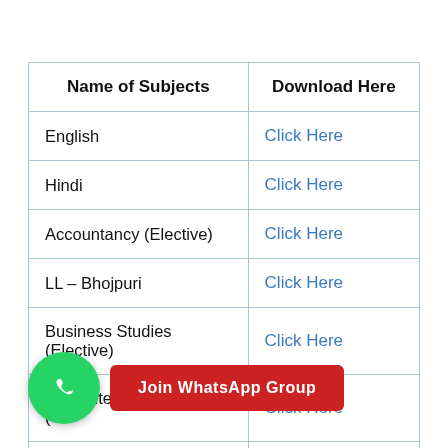| Name of Subjects | Download Here |
| --- | --- |
| English | Click Here |
| Hindi | Click Here |
| Accountancy (Elective) | Click Here |
| LL – Bhojpuri | Click Here |
| Business Studies (Elective) | Click Here |
| Computer Science ( | Click Here |
| Economics (Elective) | Click Here |